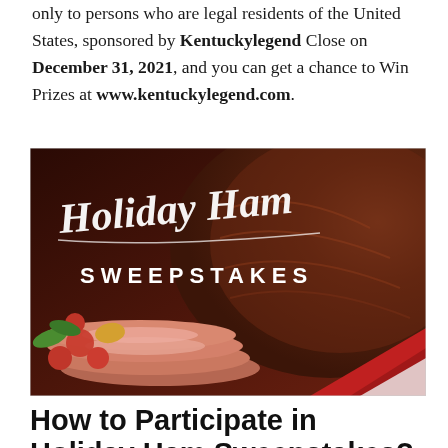only to persons who are legal residents of the United States, sponsored by Kentuckylegend Close on December 31, 2021, and you can get a chance to Win Prizes at www.kentuckylegend.com.
[Figure (photo): Holiday Ham Sweepstakes promotional image showing sliced ham and vegetables with script text 'Holiday Ham' and 'SWEEPSTAKES' in white letters on a dark background.]
How to Participate in Holiday Ham Sweepstakes?